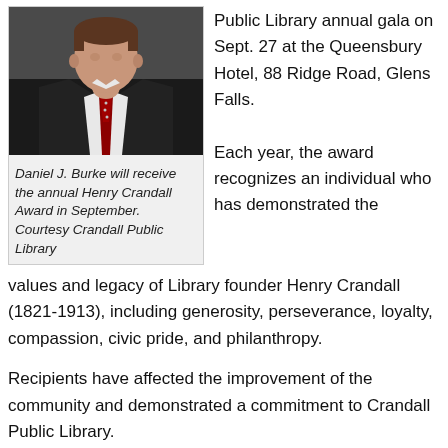[Figure (photo): Portrait photo of Daniel J. Burke, a man in a dark suit, white shirt, and red tie, cropped from chest up.]
Daniel J. Burke will receive the annual Henry Crandall Award in September. Courtesy Crandall Public Library
Public Library annual gala on Sept. 27 at the Queensbury Hotel, 88 Ridge Road, Glens Falls.
Each year, the award recognizes an individual who has demonstrated the values and legacy of Library founder Henry Crandall (1821-1913), including generosity, perseverance, loyalty, compassion, civic pride, and philanthropy.
Recipients have affected the improvement of the community and demonstrated a commitment to Crandall Public Library.